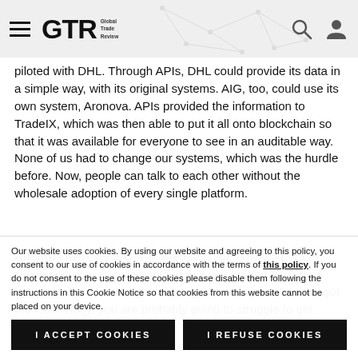GTR Global Trade Review
piloted with DHL. Through APIs, DHL could provide its data in a simple way, with its original systems. AIG, too, could use its own system, Aronova. APIs provided the information to TradeIX, which was then able to put it all onto blockchain so that it was available for everyone to see in an auditable way. None of us had to change our systems, which was the hurdle before. Now, people can talk to each other without the wholesale adoption of every single platform.
Austin: I think we are at a different stage now: corporate clients are now also demanding it. If you try and pitch for a large receivables or payables programme, if you have not got the technology, you are probably going to struggle to get
Our website uses cookies. By using our website and agreeing to this policy, you consent to our use of cookies in accordance with the terms of this policy. If you do not consent to the use of these cookies please disable them following the instructions in this Cookie Notice so that cookies from this website cannot be placed on your device.
I ACCEPT COOKIES
I REFUSE COOKIES